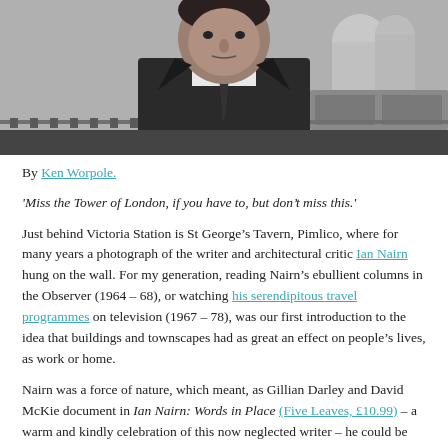[Figure (photo): Black and white photograph of a man in a suit and tie, standing with railway tracks and industrial structures in the background. The photo is cropped to show from the chest up.]
By Ken Worpole.
'Miss the Tower of London, if you have to, but don't miss this.'
Just behind Victoria Station is St George's Tavern, Pimlico, where for many years a photograph of the writer and architectural critic Ian Nairn hung on the wall. For my generation, reading Nairn's ebullient columns in the Observer (1964 – 68), or watching his serendipitous travel programmes on television (1967 – 78), was our first introduction to the idea that buildings and townscapes had as great an effect on people's lives, as work or home.
Nairn was a force of nature, which meant, as Gillian Darley and David McKie document in Ian Nairn: Words in Place (Five Leaves, £10.99) – a warm and kindly celebration of this now neglected writer – he could be sometimes difficult to work with, and a man who did not care whom